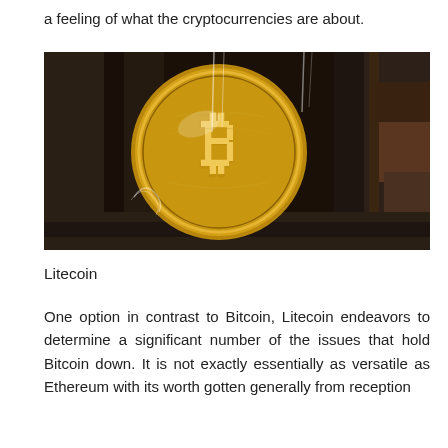a feeling of what the cryptocurrencies are about.
[Figure (photo): A gold Bitcoin coin placed between metal bars or rails, photographed in close-up with a dark background. The coin shows the Bitcoin 'B' symbol prominently.]
Litecoin
One option in contrast to Bitcoin, Litecoin endeavors to determine a significant number of the issues that hold Bitcoin down. It is not exactly essentially as versatile as Ethereum with its worth gotten generally from reception factors, directing it as a store of value of that Bitcoin last